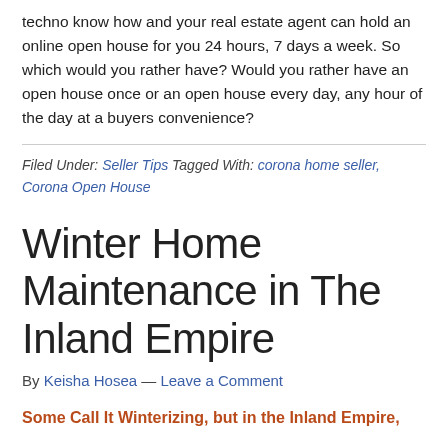techno know how and your real estate agent can hold an online open house for you 24 hours, 7 days a week. So which would you rather have? Would you rather have an open house once or an open house every day, any hour of the day at a buyers convenience?
Filed Under: Seller Tips Tagged With: corona home seller, Corona Open House
Winter Home Maintenance in The Inland Empire
By Keisha Hosea — Leave a Comment
Some Call It Winterizing, but in the Inland Empire,